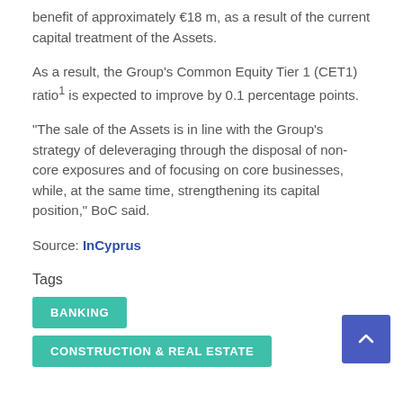benefit of approximately €18 m, as a result of the current capital treatment of the Assets.
As a result, the Group's Common Equity Tier 1 (CET1) ratio1 is expected to improve by 0.1 percentage points.
“The sale of the Assets is in line with the Group’s strategy of deleveraging through the disposal of non-core exposures and of focusing on core businesses, while, at the same time, strengthening its capital position,” BoC said.
Source: InCyprus
Tags
BANKING
CONSTRUCTION & REAL ESTATE